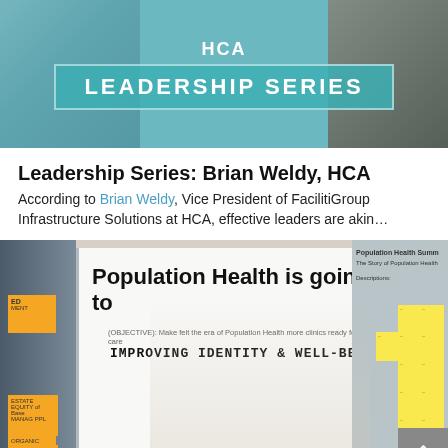[Figure (photo): HCA Leadership Series banner with teal background, person in teal jacket on left, wooden/natural texture on right, white text 'HCA' above a teal box reading 'LEADERSHIP SERIES']
Leadership Series: Brian Weldy, HCA
According to Brian Weldy, Vice President of FacilitiGroup Infrastructure Solutions at HCA, effective leaders are akin…
[Figure (photo): Man in white shirt writing on a large whiteboard that reads 'Population Health is going to' with handwritten text below. Sticky notes visible on left and right sides. Another board visible on the right with small text and sticky notes.]